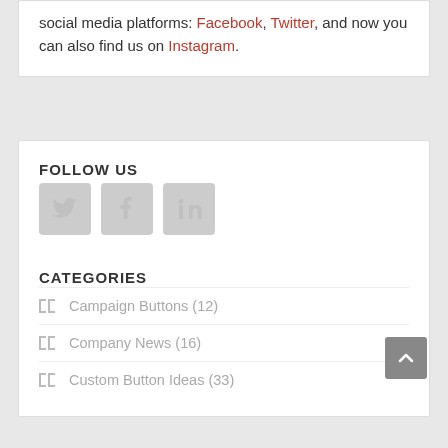social media platforms: Facebook, Twitter, and now you can also find us on Instagram.
FOLLOW US
[Figure (infographic): Three social media icon buttons: Twitter (bird icon), Facebook (f icon), LinkedIn (in icon), all in light gray rounded square style]
CATEGORIES
Campaign Buttons (12)
Company News (16)
Custom Button Ideas (33)